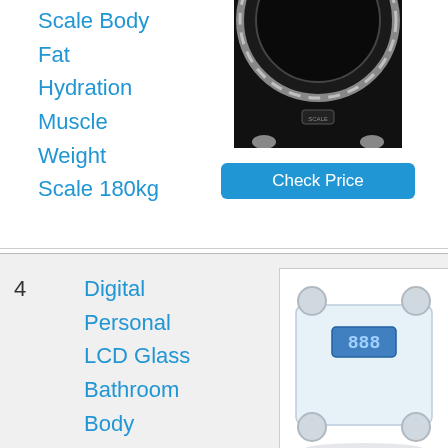Scale Body Fat Hydration Muscle Weight Scale 180kg
[Figure (photo): Black circular body fat scale, partially shown at top]
Check Price
4
Digital Personal LCD Glass Bathroom Body Weight Heath
[Figure (photo): Digital personal LCD glass bathroom body weight scale with four round feet and blue LCD display]
Check Price
1 person
40